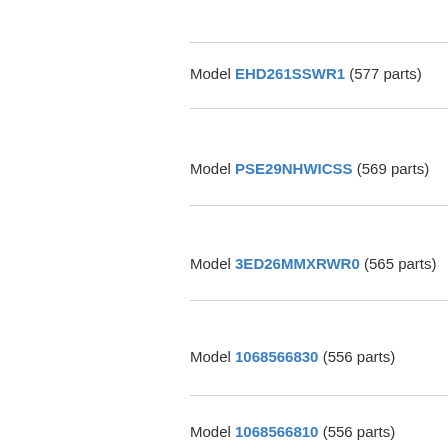Model EHD261SSWR1 (577 parts)
Model PSE29NHWICSS (569 parts)
Model 3ED26MMXRWR0 (565 parts)
Model 1068566830 (556 parts)
Model 1068566810 (556 parts)